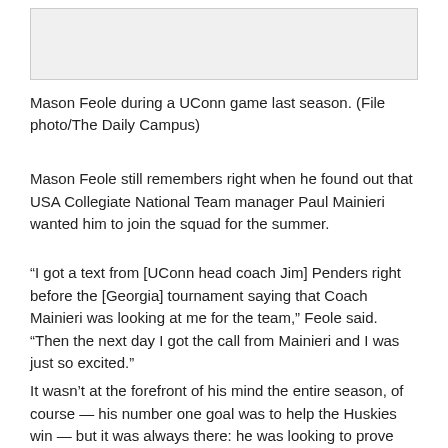[Figure (photo): Photo placeholder box — image of Mason Feole during a UConn game]
Mason Feole during a UConn game last season. (File photo/The Daily Campus)
Mason Feole still remembers right when he found out that USA Collegiate National Team manager Paul Mainieri wanted him to join the squad for the summer.
“I got a text from [UConn head coach Jim] Penders right before the [Georgia] tournament saying that Coach Mainieri was looking at me for the team,” Feole said. “Then the next day I got the call from Mainieri and I was just so excited.”
It wasn’t at the forefront of his mind the entire season, of course — his number one goal was to help the Huskies win — but it was always there: he was looking to prove himself